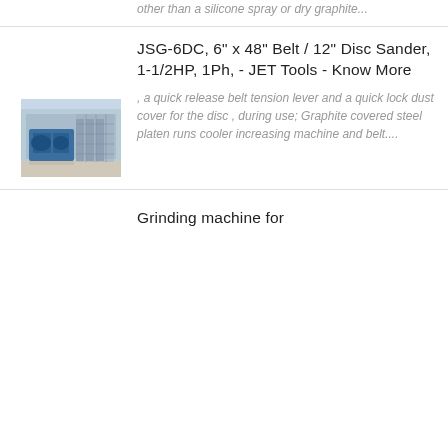other than a silicone spray or dry graphite...
JSG-6DC, 6" x 48" Belt / 12" Disc Sander, 1-1/2HP, 1Ph, - JET Tools - Know More
[Figure (photo): Industrial machinery / belt disc sander equipment in a factory setting]
, a quick release belt tension lever and a quick lock dust cover for the disc , during use; Graphite covered steel platen runs cooler increasing machine and belt....
Grinding machine for